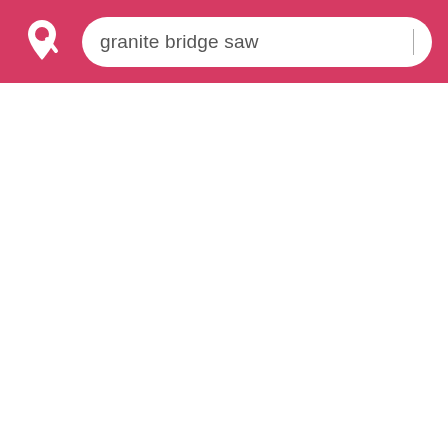[Figure (screenshot): Mobile app search interface with a crimson/pink header bar containing a location pin with magnifying glass logo on the left and a rounded search box with the text 'granite bridge saw' and a cursor line on the right. The rest of the page is white/empty.]